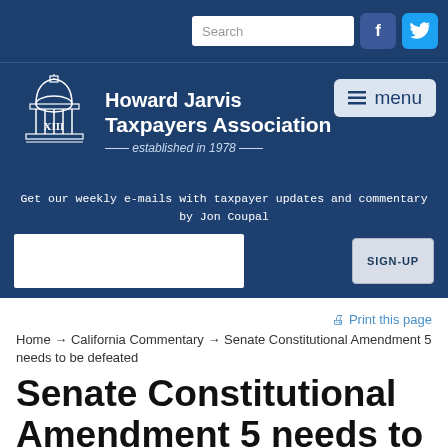[Figure (screenshot): Howard Jarvis Taxpayers Association website header with search box, Facebook and Twitter social icons, logo with capitol building dome and XIII, organization name, menu button, email signup bar, and navigation breadcrumb]
Howard Jarvis Taxpayers Association — established in 1978
Get our weekly e-mails with taxpayer updates and commentary by Jon Coupal
Print this page
Home → California Commentary → Senate Constitutional Amendment 5 needs to be defeated
Senate Constitutional Amendment 5 needs to be defeated